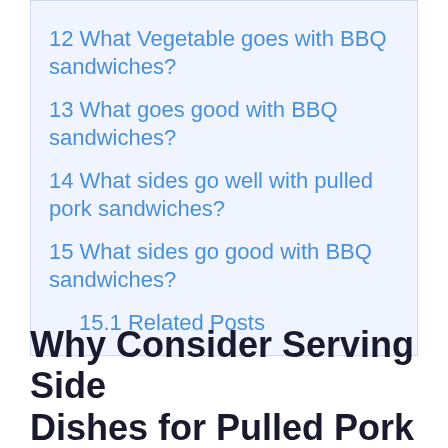12 What Vegetable goes with BBQ sandwiches?
13 What goes good with BBQ sandwiches?
14 What sides go well with pulled pork sandwiches?
15 What sides go good with BBQ sandwiches?
15.1 Related Posts
Why Consider Serving Side Dishes for Pulled Pork